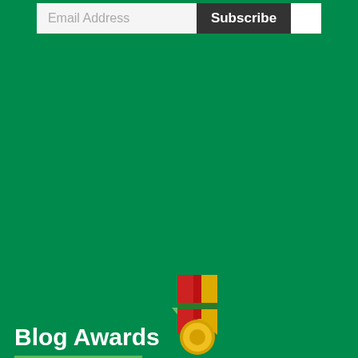[Figure (screenshot): Email subscription bar with an email address input field, a dark 'Subscribe' button, and a white box to the right, on a green background]
[Figure (illustration): A small green downward-pointing arrow icon in the middle of the page]
Blog Awards
[Figure (illustration): A gold medal with red and yellow ribbon, partially visible at the bottom right of the page]